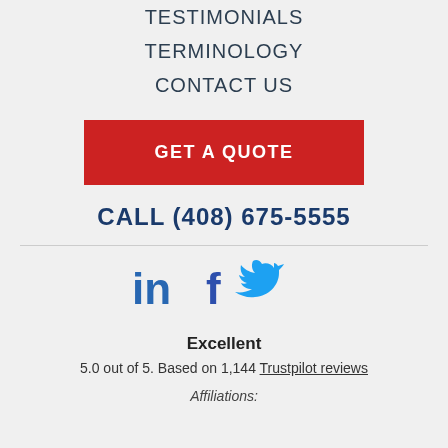TESTIMONIALS
TERMINOLOGY
CONTACT US
GET A QUOTE
CALL (408) 675-5555
[Figure (illustration): Social media icons: LinkedIn (in), Facebook (f), Twitter (bird)]
Excellent
5.0 out of 5. Based on 1,144 Trustpilot reviews
Affiliations: